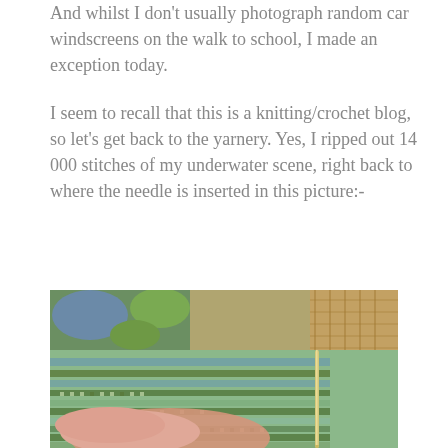And whilst I don't usually photograph random car windscreens on the walk to school, I made an exception today.
I seem to recall that this is a knitting/crochet blog, so let's get back to the yarnery. Yes, I ripped out 14 000 stitches of my underwater scene, right back to where the needle is inserted in this picture:-
[Figure (photo): Close-up photograph of a colorwork knitting project in shades of green, blue, and teal, held by a hand. A knitting needle is inserted into the fabric. Yarn balls in green, blue and other colors are visible in the background, along with what appears to be a wicker basket.]